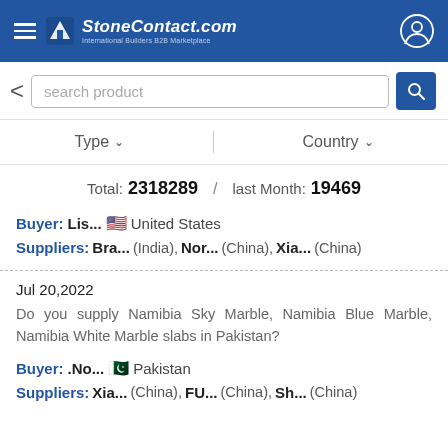StoneContact.com — International Builders B2B Marketplace
search product
Type   Country
Total: 2318289 / last Month: 19469
Buyer: Lis... United States
Suppliers: Bra... (India), Nor... (China), Xia... (China)
Jul 20,2022
Do you supply Namibia Sky Marble, Namibia Blue Marble, Namibia White Marble slabs in Pakistan?
Buyer: .No... Pakistan
Suppliers: Xia... (China), FU... (China), Sh... (China)